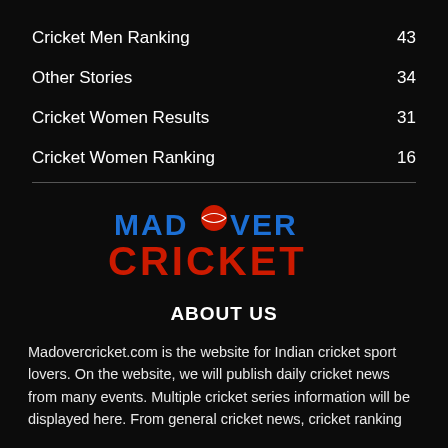Cricket Men Ranking   43
Other Stories   34
Cricket Women Results   31
Cricket Women Ranking   16
[Figure (logo): Mad Over Cricket logo — 'MAD OVER' in blue bold text with a red cricket ball over the 'O', and 'CRICKET' in large red bold text below]
ABOUT US
Madovercricket.com is the website for Indian cricket sport lovers. On the website, we will publish daily cricket news from many events. Multiple cricket series information will be displayed here. From general cricket news, cricket ranking